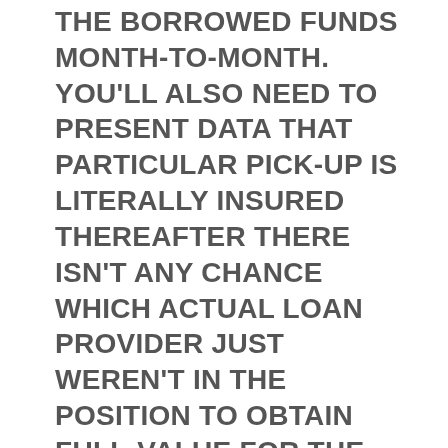THE BORROWED FUNDS MONTH-TO-MONTH. YOU'LL ALSO NEED TO PRESENT DATA THAT PARTICULAR PICK-UP IS LITERALLY INSURED THEREAFTER THERE ISN'T ANY CHANCE WHICH ACTUAL LOAN PROVIDER JUST WEREN'T IN THE POSITION TO OBTAIN FULL-VALUE FOR THE AUTO PROVIDING THEY'D ALREADY BEEN APPLY A CIRCUMSTANCE THE SPOT WHERE THE WHEELS MIGHT NEED TO BE BOUGHT. UNEARTHING A SUBJECT FUNDS WITHOUT EVIDENCE OF REVENUE OR PERHAPS A STORE CONSIDER IS NORMALLY ESSENTIAL SOMEBODY THAT WILL NOT CHOOSE TO EXPERIENCE AN ASSESSMENT. BUT FREQUENTLY, IT'LL BE AN E IF YOU REFUSE TO LOVE TO SUPPLY THE AUTOMOBILE TOWARDS